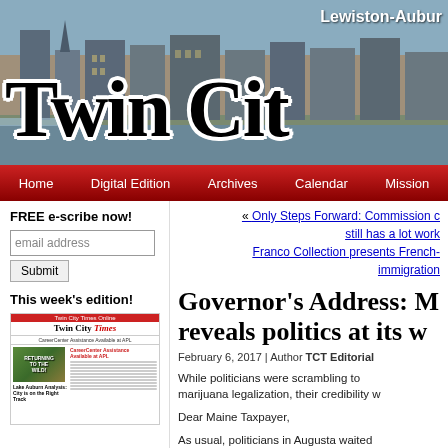[Figure (screenshot): Twin City Times newspaper website header with photo of Lewiston-Auburn cityscape and large 'TWIN CIT' masthead text]
Home | Digital Edition | Archives | Calendar | Mission
FREE e-scribe now!
email address
Submit
This week's edition!
[Figure (screenshot): Thumbnail of Twin City Times newspaper front page showing masthead, CareerCenter Assistance Available at APL headline, Returning to the Wild story, and Lake Auburn Analysis: City is on the Right Track]
« Only Steps Forward: Commission c still has a lot work Franco Collection presents French- immigration
Governor's Address: M reveals politics at its w
February 6, 2017 | Author TCT Editorial
While politicians were scrambling to marijuana legalization, their credibility w
Dear Maine Taxpayer,
As usual, politicians in Augusta waited legislation on a very important issue. T